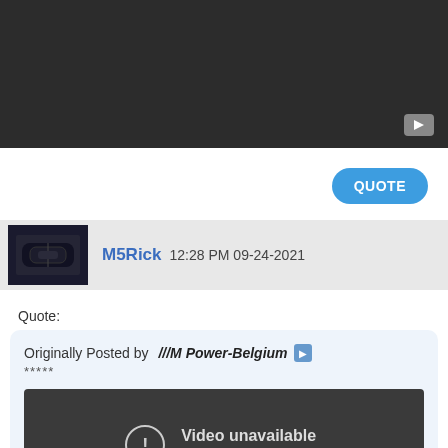[Figure (screenshot): Dark video player background with YouTube play icon in bottom right corner]
QUOTE
M5Rick 12:28 PM 09-24-2021
Quote:
Originally Posted by ///M Power-Belgium
*****
[Figure (screenshot): Embedded video player showing error: 'Video unavailable - This video is unavailable']